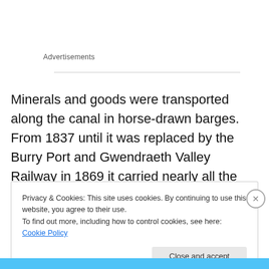Advertisements
Minerals and goods were transported along the canal in horse-drawn barges. From 1837 until it was replaced by the Burry Port and Gwendraeth Valley Railway in 1869 it carried nearly all the anthracite coal mined in the Gwendraeth Valley to be shipped from Burry Port.
Privacy & Cookies: This site uses cookies. By continuing to use this website, you agree to their use.
To find out more, including how to control cookies, see here: Cookie Policy
Close and accept